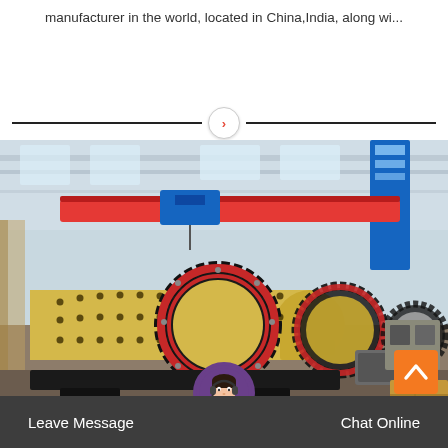manufacturer in the world, located in China,India, along wi...
[Figure (photo): Industrial ball mills in a large manufacturing facility. Multiple large cylindrical yellow ball mills with black gear rings and red flanges are lined up on a factory floor. Red overhead crane visible in background.]
Leave Message  Chat Online